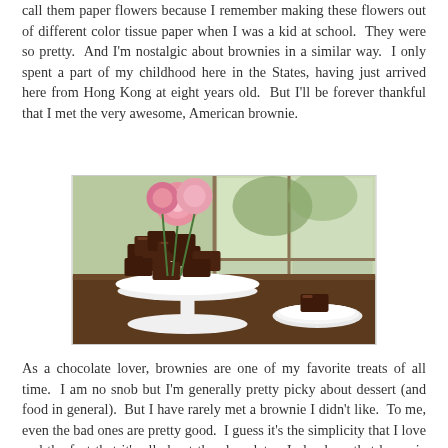call them paper flowers because I remember making these flowers out of different color tissue paper when I was a kid at school.  They were so pretty.  And I'm nostalgic about brownies in a similar way.  I only spent a part of my childhood here in the States, having just arrived here from Hong Kong at eight years old.  But I'll be forever thankful that I met the very awesome, American brownie.
[Figure (photo): Photo of chocolate brownies arranged on a white cake stand, with pink peony flowers in a vase behind, and a single brownie on a white plate to the right, against a window background.]
As a chocolate lover, brownies are one of my favorite treats of all time.  I am no snob but I'm generally pretty picky about dessert (and food in general).  But I have rarely met a brownie I didn't like.  To me, even the bad ones are pretty good.  I guess it's the simplicity that I love and the fact that it's all about the chocolate.  I also love that brownie texture